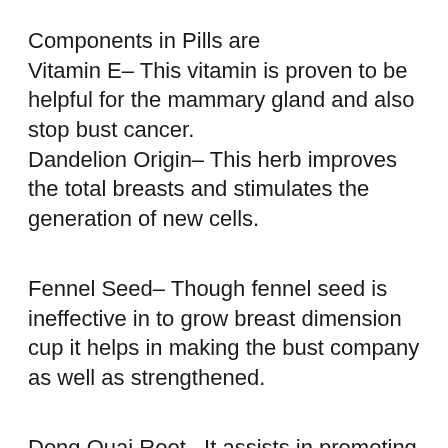Components in Pills are Vitamin E– This vitamin is proven to be helpful for the mammary gland and also stop bust cancer. Dandelion Origin– This herb improves the total breasts and stimulates the generation of new cells.
Fennel Seed– Though fennel seed is ineffective in to grow breast dimension cup it helps in making the bust company as well as strengthened.
Dong Quai Root– It assists in promoting the production of estrogen as well as enhances the bust cells.
L-Tyrosine– This is a forerunner of key thyroid